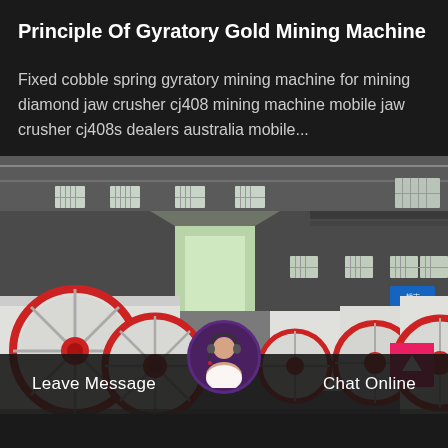Principle Of Gyratory Gold Mining Machine
Fixed cobble spring gyratory mining machine for mining diamond jaw crusher cj408 mining machine mobile jaw crusher cj408s dealers australia mobile...
[Figure (photo): Photograph of a factory/warehouse floor showing multiple large jaw crusher mining machines with red and white coloring, flywheel components, inside an industrial building with high ceilings and windows.]
Leave Message
Chat Online